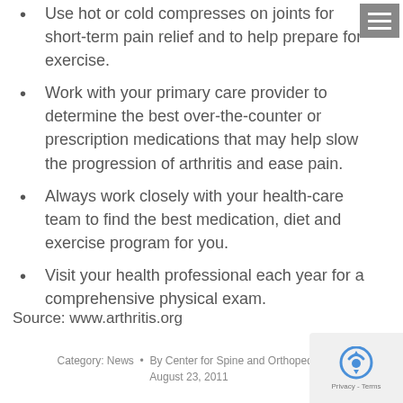Use hot or cold compresses on joints for short-term pain relief and to help prepare for exercise.
Work with your primary care provider to determine the best over-the-counter or prescription medications that may help slow the progression of arthritis and ease pain.
Always work closely with your health-care team to find the best medication, diet and exercise program for you.
Visit your health professional each year for a comprehensive physical exam.
Source: www.arthritis.org
Category: News • By Center for Spine and Orthopedic — August 23, 2011